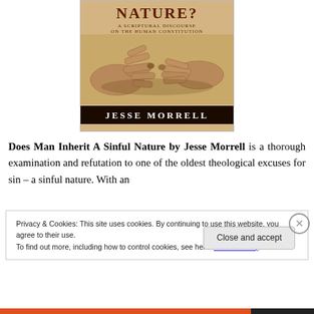[Figure (illustration): Book cover of 'Does Man Inherit A Sinful Nature? A Scriptural Discourse on the Human Constitution' by Jesse Morrell, featuring two hands nearly touching (reminiscent of Michelangelo's Creation of Adam) on a tan/parchment background with a dark author banner.]
Does Man Inherit A Sinful Nature by Jesse Morrell is a thorough examination and refutation to one of the oldest theological excuses for sin – a sinful nature. With an
Privacy & Cookies: This site uses cookies. By continuing to use this website, you agree to their use.
To find out more, including how to control cookies, see here: Cookie Policy
Close and accept